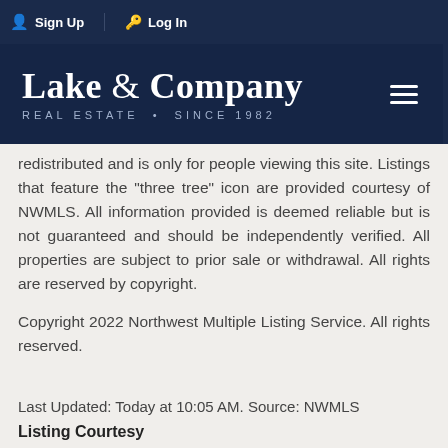Sign Up  Log In
[Figure (logo): Lake & Company Real Estate Since 1982 logo on dark navy background with hamburger menu icon]
redistributed and is only for people viewing this site. Listings that feature the "three tree" icon are provided courtesy of NWMLS. All information provided is deemed reliable but is not guaranteed and should be independently verified. All properties are subject to prior sale or withdrawal. All rights are reserved by copyright.
Copyright 2022 Northwest Multiple Listing Service. All rights reserved.
Last Updated: Today at 10:05 AM. Source: NWMLS
Listing Courtesy